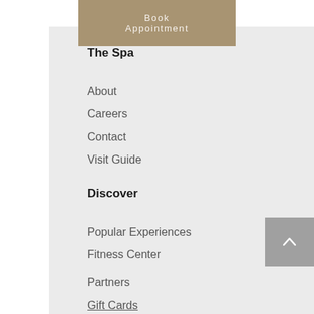Book Appointment
The Spa
About
Careers
Contact
Visit Guide
Discover
Popular Experiences
Fitness Center
Partners
Gift Cards
Hours